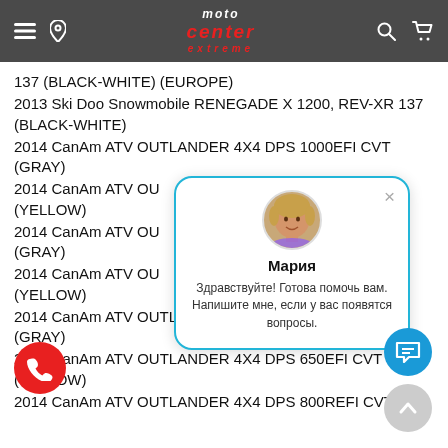Moto Center Extreme — navigation header
137 (BLACK-WHITE) (EUROPE)
2013 Ski Doo Snowmobile RENEGADE X 1200, REV-XR 137 (BLACK-WHITE)
2014 CanAm ATV OUTLANDER 4X4 DPS 1000EFI CVT (GRAY)
2014 CanAm ATV OUTLANDER ... CVT (YELLOW)
2014 CanAm ATV OUTLANDER ... T (GRAY)
2014 CanAm ATV OUTLANDER ... T (YELLOW)
2014 CanAm ATV OUTLANDER 4X4 DPS 650... CVT (GRAY)
2014 CanAm ATV OUTLANDER 4X4 DPS 650EFI CVT (YELLOW)
2014 CanAm ATV OUTLANDER 4X4 DPS 800REFI CVT
[Figure (screenshot): Chat popup with agent photo (Maria), name Мария, and message: Здравствуйте! Готова помочь вам. Напишите мне, если у вас появятся вопросы.]